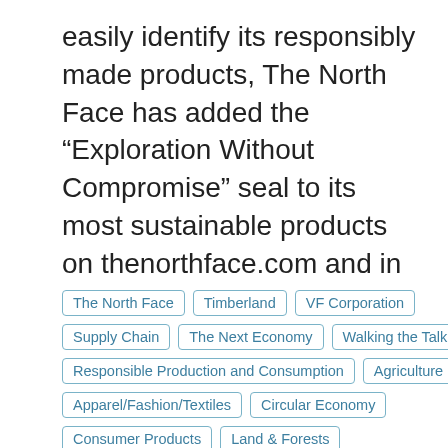easily identify its responsibly made products, The North Face has added the “Exploration Without Compromise” seal to its most sustainable products on thenorthface.com and in stores.
The North Face
Timberland
VF Corporation
Supply Chain
The Next Economy
Walking the Talk
Responsible Production and Consumption
Agriculture
Apparel/Fashion/Textiles
Circular Economy
Consumer Products
Land & Forests
Living Within Our Means
Regeneration
This website uses cookies for analytics, advertising and to improve our site. We’ll assume you’re ok with this, but you
Accept and Close ×
Your browser settings do not allow cross-site tracking for advertising. Click on this page to allow AdRoll to use cross-site tracking to tailor ads to you. Learn more or opt out of this AdRoll tracking by clicking here. This message only appears once.